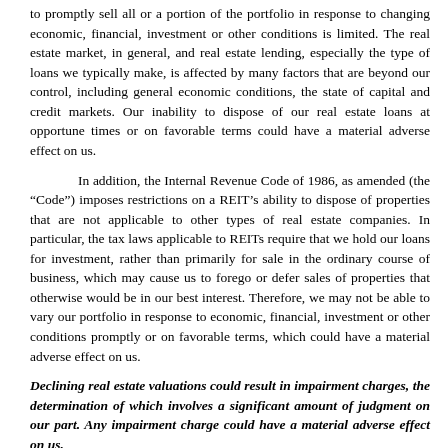to promptly sell all or a portion of the portfolio in response to changing economic, financial, investment or other conditions is limited. The real estate market, in general, and real estate lending, especially the type of loans we typically make, is affected by many factors that are beyond our control, including general economic conditions, the state of capital and credit markets. Our inability to dispose of our real estate loans at opportune times or on favorable terms could have a material adverse effect on us.
In addition, the Internal Revenue Code of 1986, as amended (the “Code”) imposes restrictions on a REIT’s ability to dispose of properties that are not applicable to other types of real estate companies. In particular, the tax laws applicable to REITs require that we hold our loans for investment, rather than primarily for sale in the ordinary course of business, which may cause us to forego or defer sales of properties that otherwise would be in our best interest. Therefore, we may not be able to vary our portfolio in response to economic, financial, investment or other conditions promptly or on favorable terms, which could have a material adverse effect on us.
Declining real estate valuations could result in impairment charges, the determination of which involves a significant amount of judgment on our part. Any impairment charge could have a material adverse effect on us.
We review our loan portfolio for impairment on a quarterly and annual basis and whenever events or changes in circumstances indicate that the carrying amount may not be recoverable. Indicators